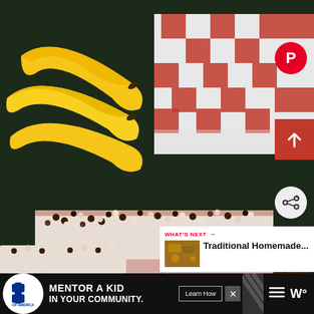[Figure (photo): A dessert/food photo showing banana cream cake slices topped with chocolate crispy pearls and cocoa powder, with yellow bananas in the background and chocolate pieces on a red and white checkered cloth]
[Figure (photo): Thumbnail image of traditional homemade food dish for 'What's Next' recommendation panel]
WHAT'S NEXT → Traditional Homemade...
[Figure (screenshot): Advertisement banner: Big Brothers Big Sisters of America - Mentor a Kid In Your Community - Learn How button]